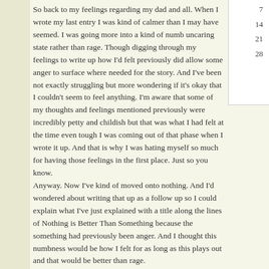So back to my feelings regarding my dad and all. When I wrote my last entry I was kind of calmer than I may have seemed. I was going more into a kind of numb uncaring state rather than rage. Though digging through my feelings to write up how I'd felt previously did allow some anger to surface where needed for the story. And I've been not exactly struggling but more wondering if it's okay that I couldn't seem to feel anything. I'm aware that some of my thoughts and feelings mentioned previously were incredibly petty and childish but that was what I had felt at the time even tough I was coming out of that phase when I wrote it up. And that is why I was hating myself so much for having those feelings in the first place. Just so you know.
Anyway. Now I've kind of moved onto nothing. And I'd wondered about writing that up as a follow up so I could explain what I've just explained with a title along the lines of Nothing is Better Than Something because the something had previously been anger. And I thought this numbness would be how I felt for as long as this plays out and that would be better than rage.

Well. I got a call out of the blue yesterday while I was dealing with dog diarrhoea and was still in pajamas.
My dad calls to tell me it's not good. The cancer's
7
14
21
28